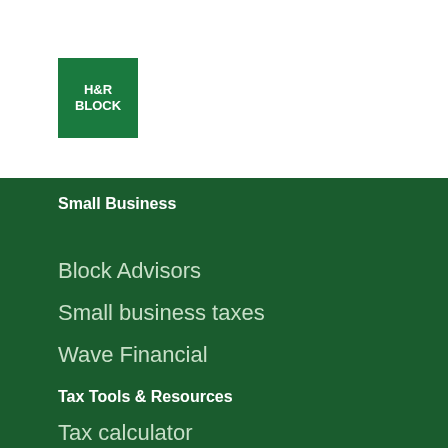[Figure (logo): H&R Block green square logo with white text reading H&R BLOCK]
Small Business
Block Advisors
Small business taxes
Wave Financial
Tax Tools & Resources
Tax calculator
Tax prep checklist
Tax…